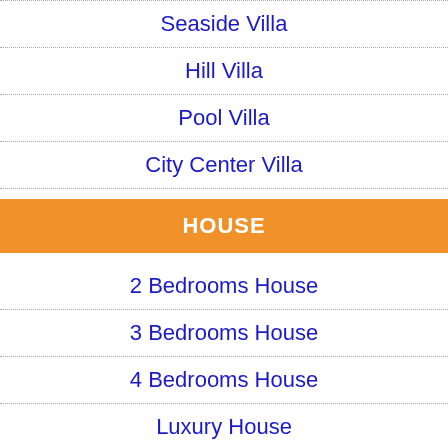Seaside Villa
Hill Villa
Pool Villa
City Center Villa
HOUSE
2 Bedrooms House
3 Bedrooms House
4 Bedrooms House
Luxury House
APARTMENT FOR RENT
1 Bedroom Apartment
[Figure (illustration): White phone/call icon on black footer bar]